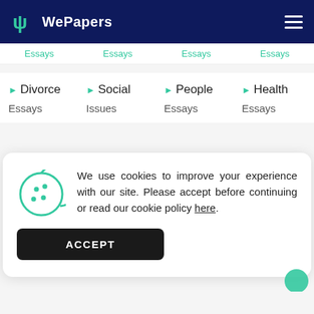WePapers
Essays Essays Essays Essays
Divorce Essays | Social Issues | People Essays | Health Essays
We use cookies to improve your experience with our site. Please accept before continuing or read our cookie policy here.
ACCEPT